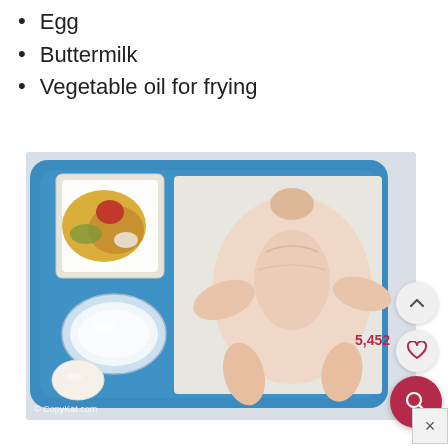Egg
Buttermilk
Vegetable oil for frying
[Figure (photo): Top-down view of ingredients on a blue tray: a white square bowl with spices, a glass bowl of buttermilk, a whole raw egg, and a raw whole chicken on parchment paper. Watermark: © CopyKat.com. UI overlay with upvote arrow, heart icon showing 5,452 likes, and a red search button.]